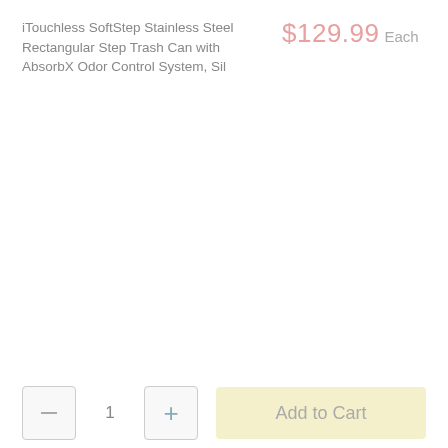iTouchless SoftStep Stainless Steel Rectangular Step Trash Can with AbsorbX Odor Control System, Sil
$129.99 Each
1
Add to Cart